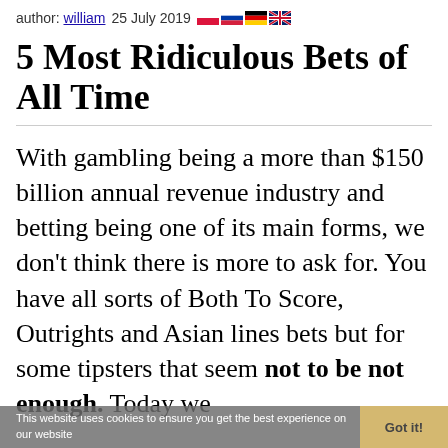author: william  25 July 2019
5 Most Ridiculous Bets of All Time
With gambling being a more than $150 billion annual revenue industry and betting being one of its main forms, we don't think there is more to ask for. You have all sorts of Both To Score, Outrights and Asian lines bets but for some tipsters that seem not to be not enough. Today we would like to share you the list of 5
This website uses cookies to ensure you get the best experience on our website